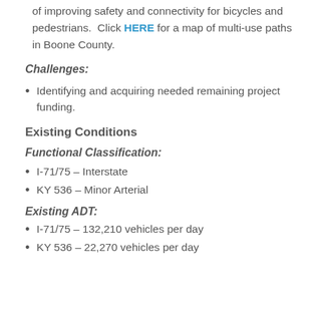of improving safety and connectivity for bicycles and pedestrians. Click HERE for a map of multi-use paths in Boone County.
Challenges:
Identifying and acquiring needed remaining project funding.
Existing Conditions
Functional Classification:
I-71/75 – Interstate
KY 536 – Minor Arterial
Existing ADT:
I-71/75 – 132,210 vehicles per day
KY 536 – 22,270 vehicles per day